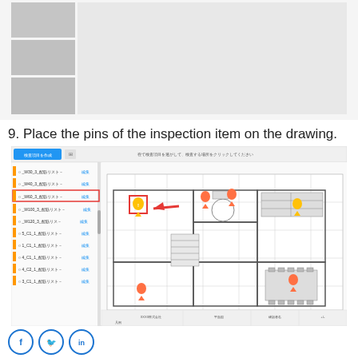[Figure (screenshot): Partial screenshot of a software UI showing inspection items with a list panel on the left and a form/content area on the right, appearing as grey placeholder blocks]
9. Place the pins of the inspection item on the drawing.
[Figure (screenshot): Screenshot of a building inspection software showing: a left panel listing inspection items in Japanese (_W30_3, _W40_3, _W60_3 highlighted in red, _W100_3, _W120_3, 5_C1_1, 1_C1_1, 4_C1_1, 4_C2_1, 3_C1_1) and a right panel showing a floor plan drawing with orange/yellow pin markers and a red arrow indicator pointing to a highlighted cell, with a red rectangle around one pin.]
[Figure (illustration): Social media share icons: Facebook (f), Twitter (bird), LinkedIn (in) as circular outlined icons in blue]